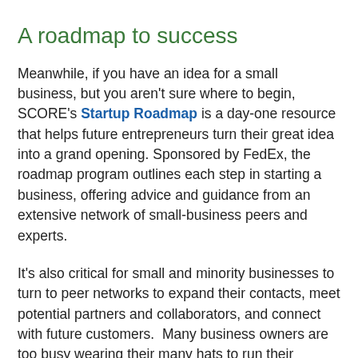A roadmap to success
Meanwhile, if you have an idea for a small business, but you aren't sure where to begin, SCORE's Startup Roadmap is a day-one resource that helps future entrepreneurs turn their great idea into a grand opening. Sponsored by FedEx, the roadmap program outlines each step in starting a business, offering advice and guidance from an extensive network of small-business peers and experts.
It's also critical for small and minority businesses to turn to peer networks to expand their contacts, meet potential partners and collaborators, and connect with future customers.  Many business owners are too busy wearing their many hats to run their